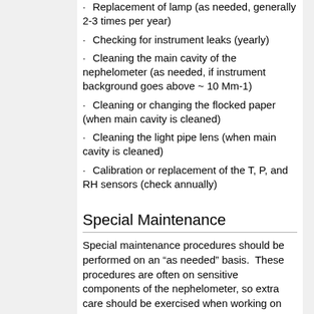· Replacement of lamp (as needed, generally 2-3 times per year)
· Checking for instrument leaks (yearly)
· Cleaning the main cavity of the nephelometer (as needed, if instrument background goes above ~ 10 Mm-1)
· Cleaning or changing the flocked paper (when main cavity is cleaned)
· Cleaning the light pipe lens (when main cavity is cleaned)
· Calibration or replacement of the T, P, and RH sensors (check annually)
Special Maintenance
Special maintenance procedures should be performed on an “as needed” basis.  These procedures are often on sensitive components of the nephelometer, so extra care should be exercised when working on these procedures. Special maintenance procedures include: